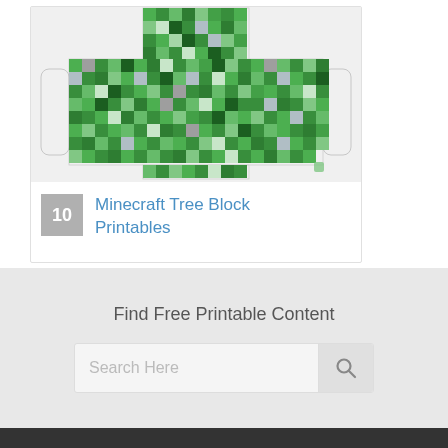[Figure (illustration): Minecraft Tree Block Printables craft template showing a green pixelated tree block unfolded/cut-out pattern with T-shape and side flaps, rendered as a grid of green, dark green, gray, and white squares in a Minecraft style.]
10  Minecraft Tree Block Printables
Find Free Printable Content
Search Here